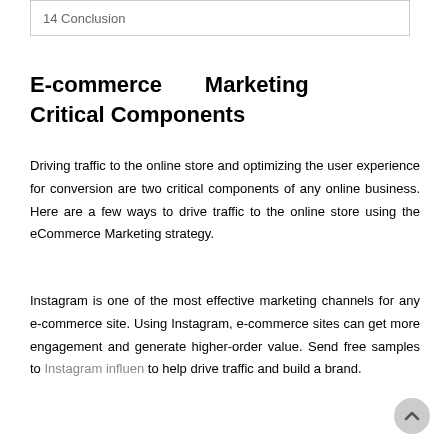14 Conclusion
E-commerce Marketing Critical Components
Driving traffic to the online store and optimizing the user experience for conversion are two critical components of any online business. Here are a few ways to drive traffic to the online store using the eCommerce Marketing strategy.
Instagram is one of the most effective marketing channels for any e-commerce site. Using Instagram, e-commerce sites can get more engagement and generate higher-order value. Send free samples to Instagram influen to help drive traffic and build a brand.